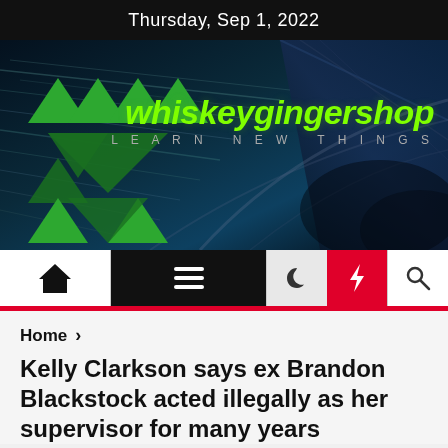Thursday, Sep 1, 2022
[Figure (logo): whiskeygingershop website banner with green triangle logo on dark teal/blue streaked background. Logo text: whiskeygingershop LEARN NEW THINGS]
[Figure (other): Navigation bar with home icon, hamburger menu, moon icon, lightning bolt (red background), and search icon]
Home >
Kelly Clarkson says ex Brandon Blackstock acted illegally as her supervisor for many years